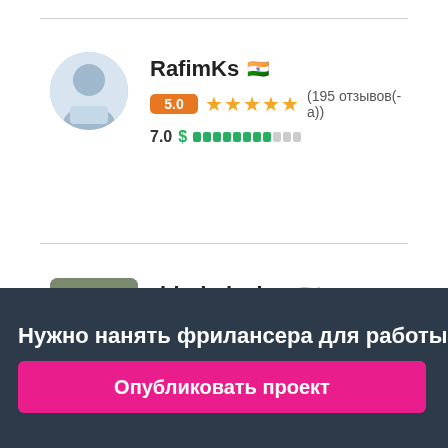RafimKs 🇮🇳
5.0 ★★★★★ (195 отзывов(-а))
7.0 $
bindmission 🇮🇳
5.0 ★★★★★ (340 отзывов(-а))
7.1 $
Нужно нанять фрилансера для работы? ✕
Опубликовать проект